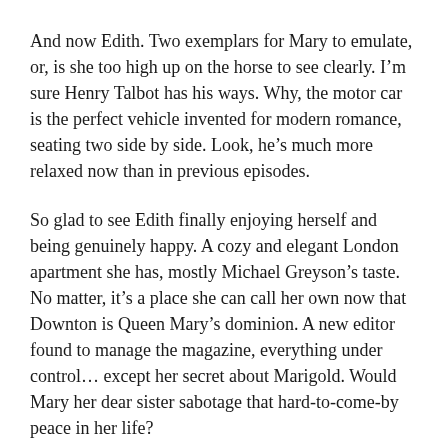And now Edith. Two exemplars for Mary to emulate, or, is she too high up on the horse to see clearly. I'm sure Henry Talbot has his ways. Why, the motor car is the perfect vehicle invented for modern romance, seating two side by side. Look, he's much more relaxed now than in previous episodes.
So glad to see Edith finally enjoying herself and being genuinely happy. A cozy and elegant London apartment she has, mostly Michael Greyson's taste. No matter, it's a place she can call her own now that Downton is Queen Mary's dominion. A new editor found to manage the magazine, everything under control… except her secret about Marigold. Would Mary her dear sister sabotage that hard-to-come-by peace in her life?
Miss Baxter's brave move of coming out to be the